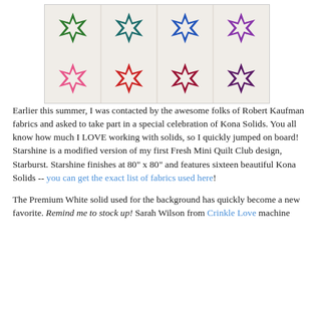[Figure (photo): A colorful star quilt with sixteen star blocks arranged in a 4x4 grid on a white/cream background. Stars are in green, teal/dark blue, blue, purple (top row), pink, red, dark red, dark purple (bottom row).]
Earlier this summer, I was contacted by the awesome folks of Robert Kaufman fabrics and asked to take part in a special celebration of Kona Solids. You all know how much I LOVE working with solids, so I quickly jumped on board! Starshine is a modified version of my first Fresh Mini Quilt Club design, Starburst. Starshine finishes at 80" x 80" and features sixteen beautiful Kona Solids -- you can get the exact list of fabrics used here!
The Premium White solid used for the background has quickly become a new favorite. Remind me to stock up! Sarah Wilson from Crinkle Love machine